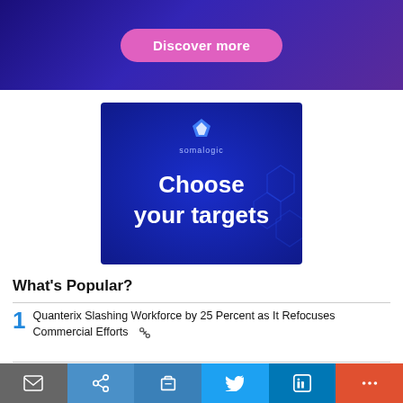[Figure (other): Dark purple/blue gradient banner with pink 'Discover more' button]
[Figure (other): Somalogic advertisement with dark blue background, somalogic logo, and text 'Choose your targets']
What's Popular?
1 Quanterix Slashing Workforce by 25 Percent as It Refocuses Commercial Efforts
2 SomaLogic Inks Partnership for Testing in UAE, Firm's Q2 Revenue Down 26 Percent
[Figure (other): Bottom toolbar with email, share, print, Twitter, LinkedIn, and more icons]